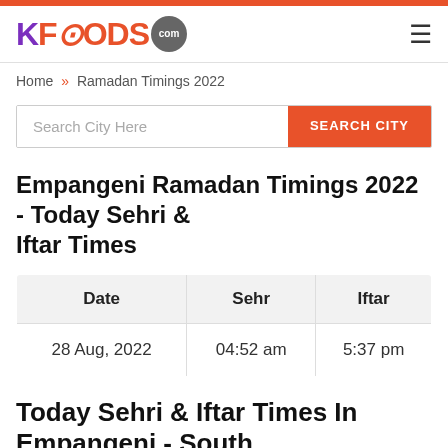KFOODS.com
Home » Ramadan Timings 2022
Search City Here  SEARCH CITY
Empangeni Ramadan Timings 2022 - Today Sehri & Iftar Times
| Date | Sehr | Iftar |
| --- | --- | --- |
| 28 Aug, 2022 | 04:52 am | 5:37 pm |
Today Sehri & Iftar Times In Empangeni - South